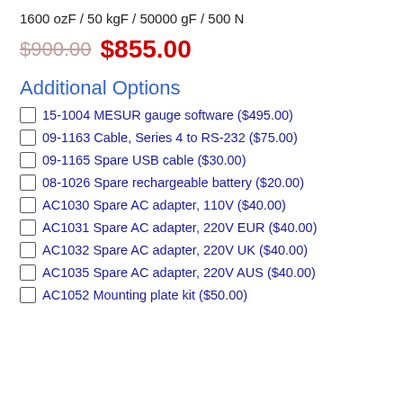1600 ozF / 50 kgF / 50000 gF / 500 N
$900.00 $855.00
Additional Options
15-1004 MESUR gauge software ($495.00)
09-1163 Cable, Series 4 to RS-232 ($75.00)
09-1165 Spare USB cable ($30.00)
08-1026 Spare rechargeable battery ($20.00)
AC1030 Spare AC adapter, 110V ($40.00)
AC1031 Spare AC adapter, 220V EUR ($40.00)
AC1032 Spare AC adapter, 220V UK ($40.00)
AC1035 Spare AC adapter, 220V AUS ($40.00)
AC1052 Mounting plate kit ($50.00)